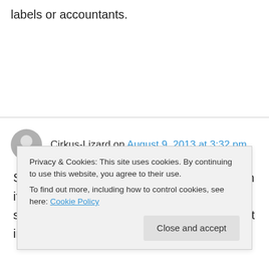labels or accountants.
Cirkus-Lizard on August 9, 2013 at 3:32 pm
So will Varg offer a portion of any reward won if you donate for his legal defense? And seriously most civil case trial lawyers (at least in the
Privacy & Cookies: This site uses cookies. By continuing to use this website, you agree to their use.
To find out more, including how to control cookies, see here: Cookie Policy
Close and accept